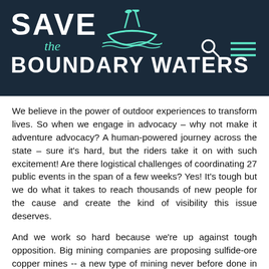[Figure (logo): Save the Boundary Waters logo with canoe illustration on dark navy background, with search and menu icons in the top right]
We believe in the power of outdoor experiences to transform lives. So when we engage in advocacy – why not make it adventure advocacy? A human-powered journey across the state – sure it's hard, but the riders take it on with such excitement! Are there logistical challenges of coordinating 27 public events in the span of a few weeks? Yes! It's tough but we do what it takes to reach thousands of new people for the cause and create the kind of visibility this issue deserves.
And we work so hard because we're up against tough opposition. Big mining companies are proposing sulfide-ore copper mines -- a new type of mining never before done in Minnesota -- right on the edges of the Wilderness. Everywhere this type of mining is done, it causes pollution. Twin Metals already has mineral leases along the South